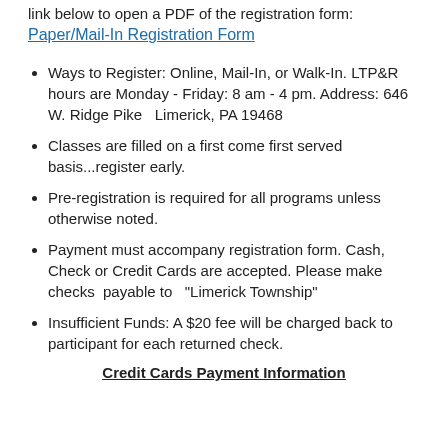link below to open a PDF of the registration form:
Paper/Mail-In Registration Form
Ways to Register: Online, Mail-In, or Walk-In. LTP&R hours are Monday - Friday: 8 am - 4 pm. Address: 646 W. Ridge Pike   Limerick, PA 19468
Classes are filled on a first come first served basis...register early.
Pre-registration is required for all programs unless otherwise noted.
Payment must accompany registration form. Cash, Check or Credit Cards are accepted. Please make checks  payable to   “Limerick Township”
Insufficient Funds: A $20 fee will be charged back to participant for each returned check.
Credit Cards Payment Information